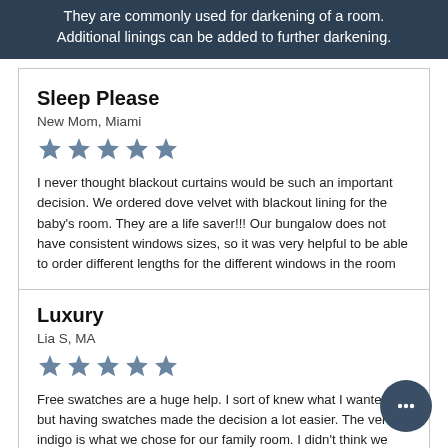They are commonly used for darkening of a room. Additional linings can be added to further darkening.
Sleep Please
New Mom, Miami
[Figure (other): 5 blue-grey stars rating]
I never thought blackout curtains would be such an important decision. We ordered dove velvet with blackout lining for the baby's room. They are a life saver!!! Our bungalow does not have consistent windows sizes, so it was very helpful to be able to order different lengths for the different windows in the room
Luxury
Lia S, MA
[Figure (other): 5 blue-grey stars rating]
Free swatches are a huge help. I sort of knew what I wanted, but having swatches made the decision a lot easier. The velvet indigo is what we chose for our family room. I didn't think we would be able to find curtains the length we needed – but customer service worked with us to get the 118″ we needed